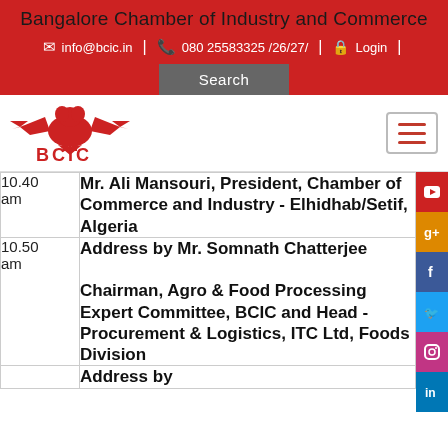Bangalore Chamber of Industry and Commerce
info@bcic.in | 080 25583325 /26/27/ | Login | Search
[Figure (logo): BCIC eagle logo with text BCIC in red]
| Time | Event |
| --- | --- |
| 10.40 am | Mr. Ali Mansouri, President, Chamber of Commerce and Industry - Elhidhab/Setif, Algeria |
| 10.50 am | Address by Mr. Somnath Chatterjee

Chairman, Agro & Food Processing Expert Committee, BCIC and Head - Procurement & Logistics, ITC Ltd, Foods Division |
|  | Address by |